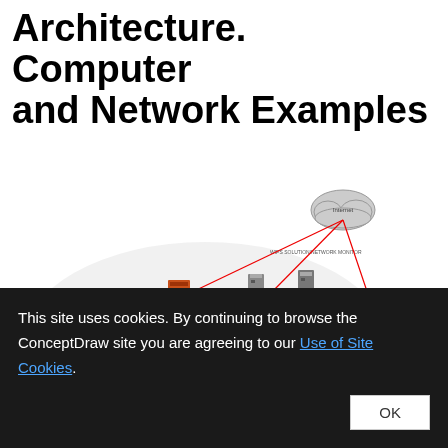Architecture. Computer and Network Examples
[Figure (network-graph): Enterprise network architecture diagram showing Internet cloud at top connected via WIPS SOLUTION/NETWORK MONITOR to various servers including Proxy Server, Impact Server, Firewall Server, Content Detection (IDS), and connections to external Server Group. Internal network shows OWASP Testing & Analysis, Packet Distribution, Application Server, and Agent Destination components connected via Application Cables and OWASP Networks. Enterprise Network label at left.]
This site uses cookies. By continuing to browse the ConceptDraw site you are agreeing to our Use of Site Cookies.